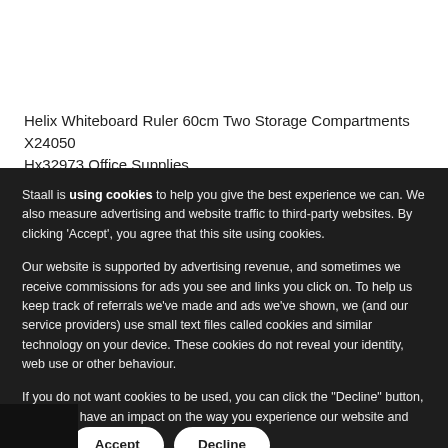Helix Whiteboard Ruler 60cm Two Storage Compartments X24050 Hx32973 Office Supplies
Staall is using cookies to help you give the best experience we can. We also measure advertising and website traffic to third-party websites. By clicking 'Accept', you agree that this site using cookies.
Our website is supported by advertising revenue, and sometimes we receive commissions for ads you see and links you click on. To help us keep track of referrals we've made and ads we've shown, we (and our service providers) use small text files called cookies and similar technology on your device. These cookies do not reveal your identity, web use or other behaviour.
If you do not want cookies to be used, you can click the "Decline" button, but it may have an impact on the way you experience our website and others.